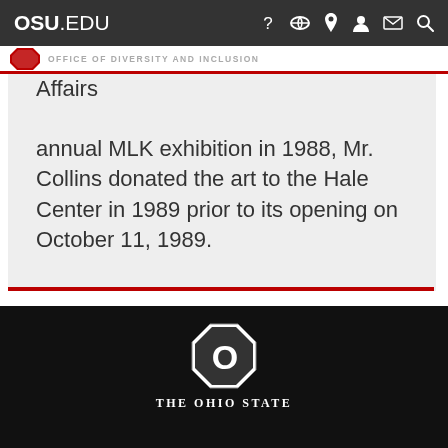OSU.EDU
OFFICE OF DIVERSITY AND INCLUSION
specifically for the Office of Minority Affairs annual MLK exhibition in 1988, Mr. Collins donated the art to the Hale Center in 1989 prior to its opening on October 11, 1989.
SEE MORE FROM THE COLLECTION ›
THE OHIO STATE